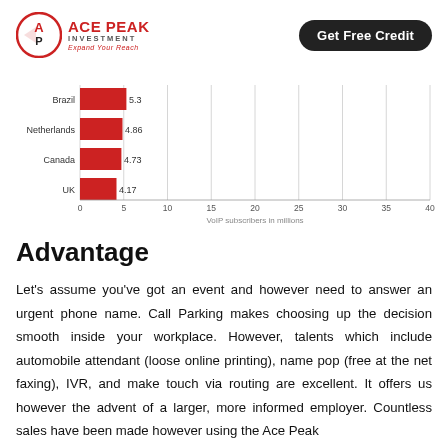ACE PEAK INVESTMENT — Expand Your Reach | Get Free Credit
[Figure (bar-chart): ]
Advantage
Let's assume you've got an event and however need to answer an urgent phone name. Call Parking makes choosing up the decision smooth inside your workplace. However, talents which include automobile attendant (loose online printing), name pop (free at the net faxing), IVR, and make touch via routing are excellent. It offers us however the advent of a larger, more informed employer. Countless sales have been made however using the Ace Peak